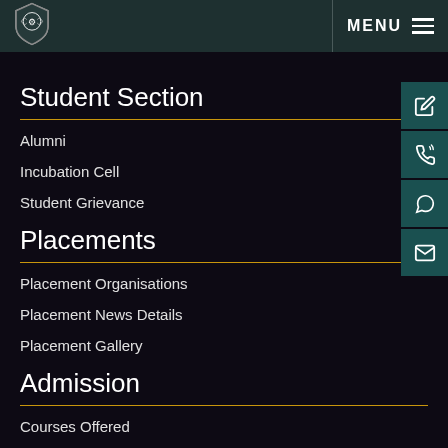MENU
Student Section
Alumni
Incubation Cell
Student Grievance
Placements
Placement Organisations
Placement News Details
Placement Gallery
Admission
Courses Offered